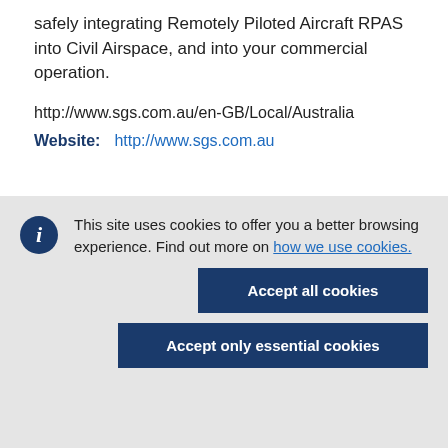safely integrating Remotely Piloted Aircraft RPAS into Civil Airspace, and into your commercial operation.
http://www.sgs.com.au/en-GB/Local/Australia
Website:    http://www.sgs.com.au
This site uses cookies to offer you a better browsing experience. Find out more on how we use cookies.
Accept all cookies
Accept only essential cookies